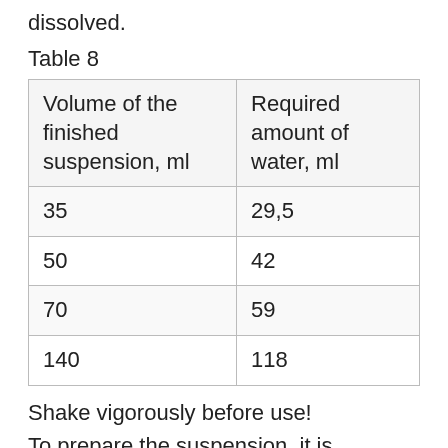dissolved.
Table 8
| Volume of the finished suspension, ml | Required amount of water, ml |
| --- | --- |
| 35 | 29,5 |
| 50 | 42 |
| 70 | 59 |
| 140 | 118 |
Shake vigorously before use!
To prepare the suspension, it is recommended to dilute the powder with boiled water at room temperature. It is recommended to place the finished suspension in the refrigerator.